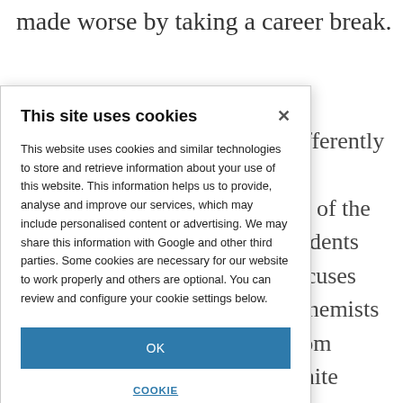made worse by taking a career break.
differently in sis of the ondents focuses Chemists from white minoritised rn a median salary ian of £47,000 owever, it should here are also type, with 48% ployed in white e fact that nearly respondents are
[Figure (screenshot): Cookie consent dialog overlay with title 'This site uses cookies', body text about cookies and technology, an OK button, and a COOKIE SETTINGS link.]
This site uses cookies
This website uses cookies and similar technologies to store and retrieve information about your use of this website. This information helps us to provide, analyse and improve our services, which may include personalised content or advertising. We may share this information with Google and other third parties. Some cookies are necessary for our website to work properly and others are optional. You can review and configure your cookie settings below.
OK
COOKIE SETTINGS